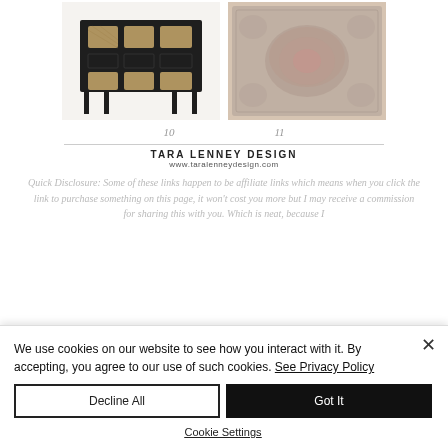[Figure (photo): Black rattan/cane desk with multiple drawers and cabinet doors]
10
[Figure (photo): Vintage-style boho area rug with faded floral/medallion pattern in pink, blue and cream]
11
TARA LENNEY DESIGN
www.taralenneydesign.com
Quick Disclosure: Some of these links happen to be affiliate links which means when you click the link to purchase something on this page, it won't cost you more but I may receive a commission for sharing this with you. Which is neat, because I
We use cookies on our website to see how you interact with it. By accepting, you agree to our use of such cookies. See Privacy Policy
Decline All
Got It
Cookie Settings